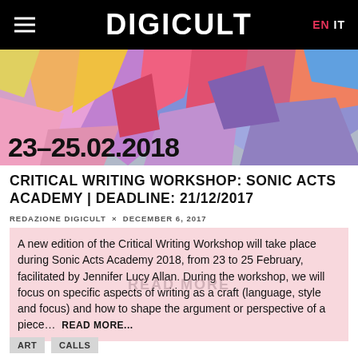DIGICULT  EN  IT
[Figure (illustration): Colorful abstract digital art banner with pink, purple, blue and orange geometric shapes. Date '23–25.02.2018' overlaid at bottom left in large bold black text.]
CRITICAL WRITING WORKSHOP: SONIC ACTS ACADEMY | DEADLINE: 21/12/2017
REDAZIONE DIGICULT  ×  DECEMBER 6, 2017
A new edition of the Critical Writing Workshop will take place during Sonic Acts Academy 2018, from 23 to 25 February, facilitated by Jennifer Lucy Allan. During the workshop, we will focus on specific aspects of writing as a craft (language, style and focus) and how to shape the argument or perspective of a piece…  READ MORE...
ART
CALLS